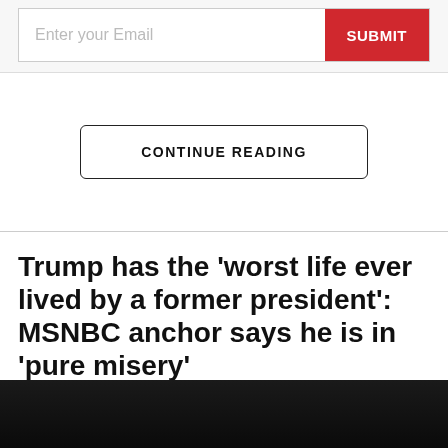Enter your Email
SUBMIT
CONTINUE READING
Trump has the ‘worst life ever lived by a former president’: MSNBC anchor says he is in ‘pure misery’
By Bob Brigham
Published August 25, 2022
[Figure (photo): Dark photo at the bottom of the page, appears to show the top of a person's head]